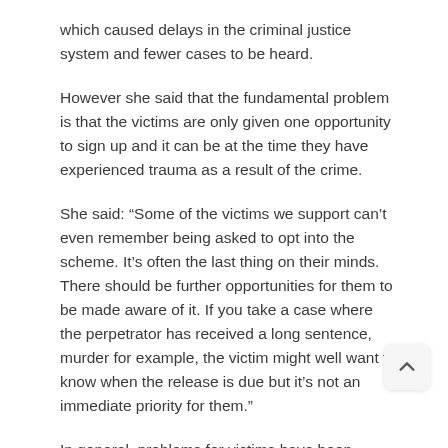which caused delays in the criminal justice system and fewer cases to be heard.
However she said that the fundamental problem is that the victims are only given one opportunity to sign up and it can be at the time they have experienced trauma as a result of the crime.
She said: “Some of the victims we support can’t even remember being asked to opt into the scheme. It’s often the last thing on their minds. There should be further opportunities for them to be made aware of it. If you take a case where the perpetrator has received a long sentence, murder for example, the victim might well want to know when the release is due but it’s not an immediate priority for them.”
In general, problems for victims have been exacerbated by Covid-19, Wallace added, and at the outset of the pandemic charity witnessed a 400 per cent rise in